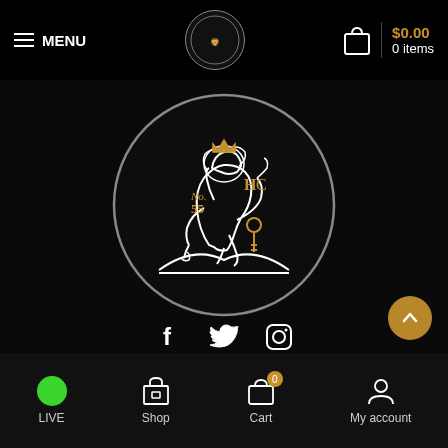MENU | Logo | $0.00 0 items
[Figure (logo): Large circular logo with a crowned lion rampant holding a key, standing on mountains. Text 'No. 55' and 'HC' in gold. White line art on black background, silver circle border.]
[Figure (infographic): Social media icons: Facebook (f), Twitter (bird), Instagram (camera/circle)]
LIVE | Shop | Cart (0) | My account